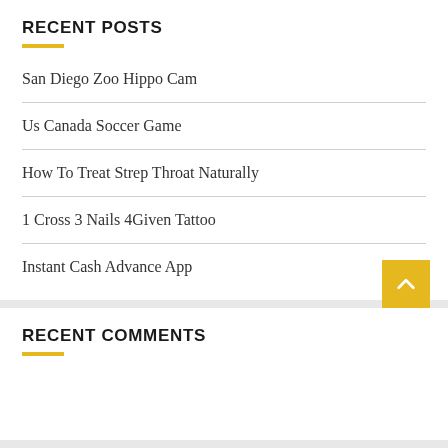RECENT POSTS
San Diego Zoo Hippo Cam
Us Canada Soccer Game
How To Treat Strep Throat Naturally
1 Cross 3 Nails 4Given Tattoo
Instant Cash Advance App
RECENT COMMENTS
ARCHIVE